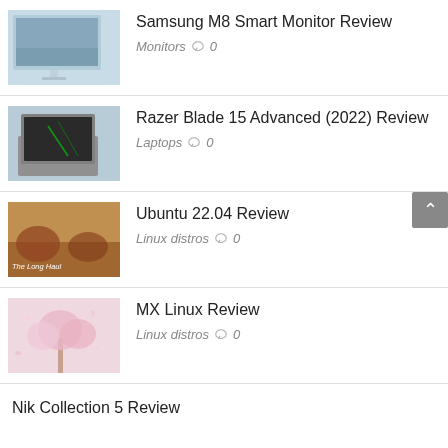Samsung M8 Smart Monitor Review | Monitors | 0 comments
Razer Blade 15 Advanced (2022) Review | Laptops | 0 comments
Ubuntu 22.04 Review | Linux distros | 0 comments
MX Linux Review | Linux distros | 0 comments
Nik Collection 5 Review